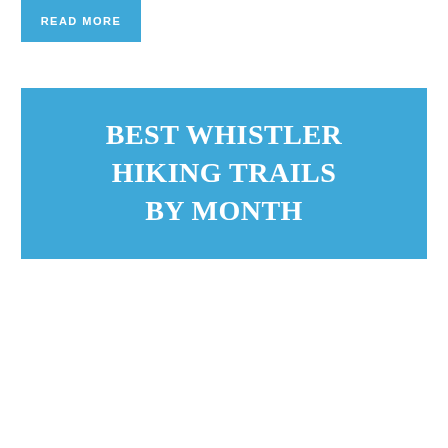READ MORE
BEST WHISTLER HIKING TRAILS BY MONTH